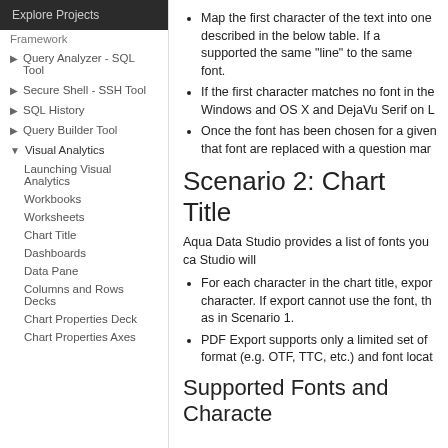Explore Projects
Framework
Query Analyzer - SQL Tool
Secure Shell - SSH Tool
SQL History
Query Builder Tool
Visual Analytics
Launching Visual Analytics
Workbooks
Worksheets
Chart Title
Dashboards
Data Pane
Columns and Rows Decks
Chart Properties Deck
Chart Properties Axes
Map the first character of the text into one described in the below table. If a supported the same "line" to the same font.
If the first character matches no font in the Windows and OS X and DejaVu Serif on L
Once the font has been chosen for a given that font are replaced with a question mar
Scenario 2: Chart Title
Aqua Data Studio provides a list of fonts you ca Studio will
For each character in the chart title, expor character. If export cannot use the font, th as in Scenario 1.
PDF Export supports only a limited set of format (e.g. OTF, TTC, etc.) and font locat
Supported Fonts and Characte